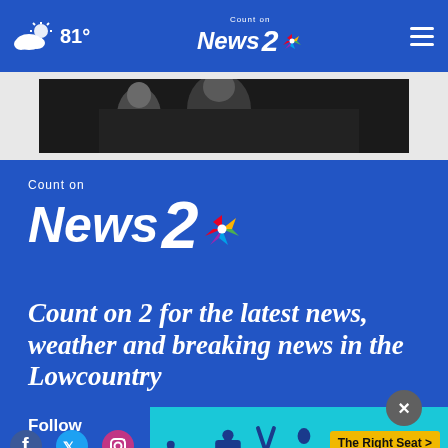81° | Count on News 2
[Figure (photo): Black and white photo of an adult and child]
[Figure (logo): Count on News 2 NBC logo (large, white on blue background)]
Count on 2 for the latest news, weather and breaking news in the Lowcountry
Follow
[Figure (infographic): Bottom advertisement banner: The Right Seat - NHTSA, cyan background with car seat icons]